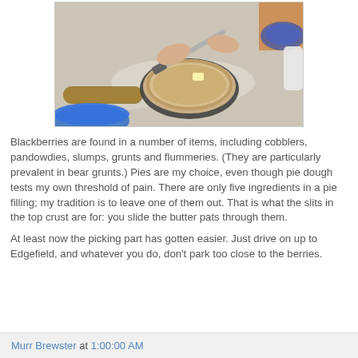[Figure (photo): Person's hands using a knife to cut/score the top crust of a pie in a dark pie dish on a flour-dusted surface, with a rolling pin visible at lower left and a blue bowl in the background.]
Blackberries are found in a number of items, including cobblers, pandowdies, slumps, grunts and flummeries. (They are particularly prevalent in bear grunts.) Pies are my choice, even though pie dough tests my own threshold of pain. There are only five ingredients in a pie filling; my tradition is to leave one of them out. That is what the slits in the top crust are for: you slide the butter pats through them.
At least now the picking part has gotten easier. Just drive on up to Edgefield, and whatever you do, don't park too close to the berries.
Murr Brewster at 1:00:00 AM